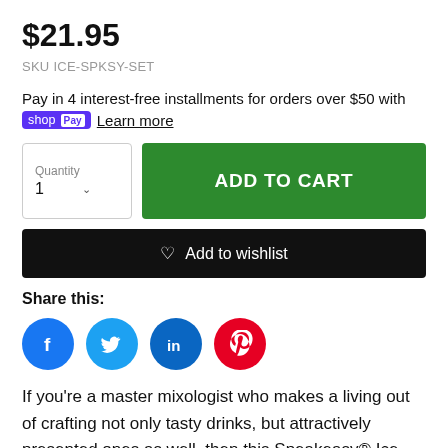$21.95
SKU ICE-SPKSY-SET
Pay in 4 interest-free installments for orders over $50 with shop Pay  Learn more
ADD TO CART
♡ Add to wishlist
Share this:
[Figure (illustration): Social media share icons: Facebook (blue circle with f), Twitter (light blue circle with bird), LinkedIn (blue circle with in), Pinterest (red circle with P)]
If you're a master mixologist who makes a living out of crafting not only tasty drinks, but attractively presented ones as well, then this Speakeasy® Ice Mallet and Vintage style Lewis Canvas Ice Crushing Bag is a must have bar tool to accomplish just that. Whether you're looking to concoct your latest julep, margarita, smash or cocktail,